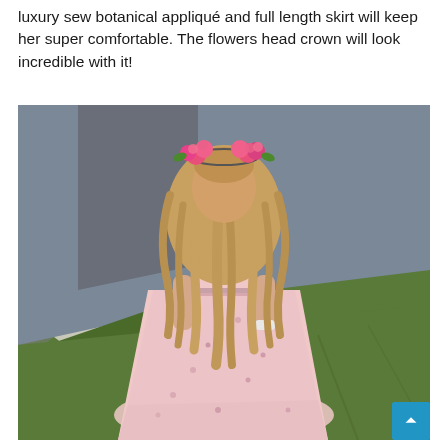luxury sew botanical appliqué and full length skirt will keep her super comfortable. The flowers head crown will look incredible with it!
[Figure (photo): A young girl seen from behind, wearing a pink floral maxi skirt and crop top, with long wavy blonde hair adorned with a pink flower crown. She is walking on a sidewalk/path alongside a road, with green grass on the right side.]